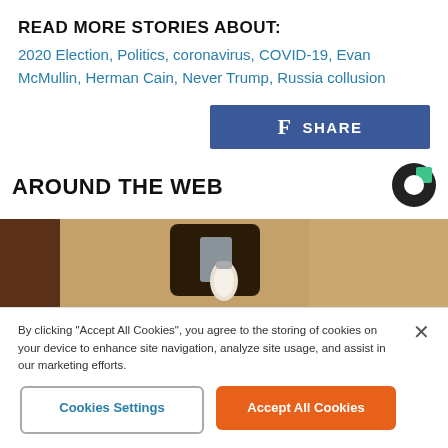READ MORE STORIES ABOUT:
2020 Election, Politics, coronavirus, COVID-19, Evan McMullin, Herman Cain, Never Trump, Russia collusion
[Figure (other): Facebook Share button with blue background and f icon and SHARE text]
AROUND THE WEB
[Figure (logo): Taboola logo - dark circle with green square cutout]
[Figure (photo): Photo of an outdoor wall light fixture on a textured stucco wall]
By clicking "Accept All Cookies", you agree to the storing of cookies on your device to enhance site navigation, analyze site usage, and assist in our marketing efforts.
Cookies Settings
Accept All Cookies